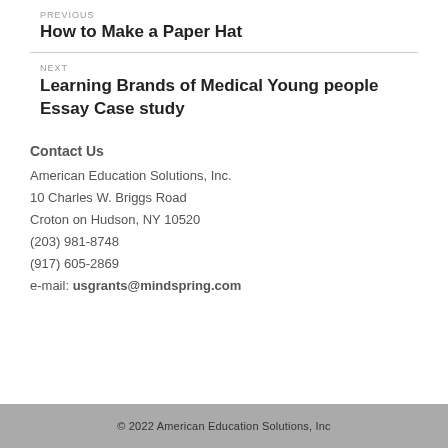PREVIOUS
How to Make a Paper Hat
NEXT
Learning Brands of Medical Young people Essay Case study
Contact Us
American Education Solutions, Inc.
10 Charles W. Briggs Road
Croton on Hudson, NY 10520
(203) 981-8748
(917) 605-2869
e-mail: usgrants@mindspring.com
© 2022 American Education Solutions, Inc